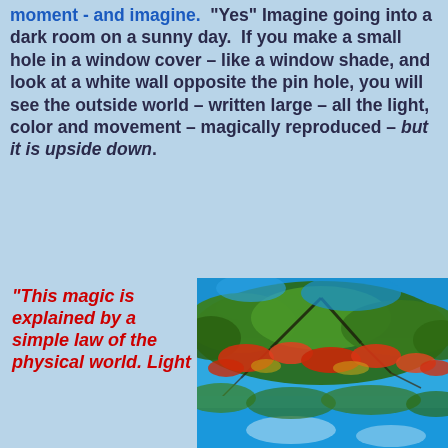moment - and imagine.  "Yes" Imagine going into a dark room on a sunny day.  If you make a small hole in a window cover – like a window shade, and look at a white wall opposite the pin hole, you will see the outside world – written large – all the light, color and movement – magically reproduced – but it is upside down.
“This magic is explained by a simple law of the physical world. Light
[Figure (photo): An upside-down photo of a tree with red and green foliage against a bright blue sky, appearing to be reflected or inverted.]